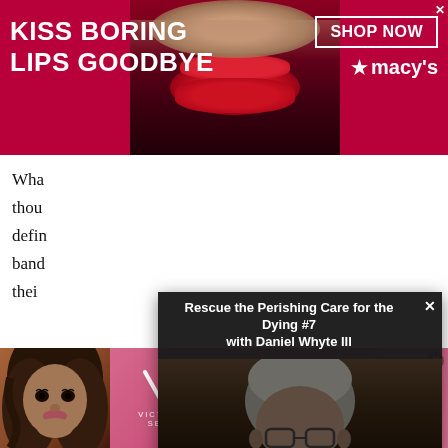[Figure (other): Macy's advertisement banner with red background, woman's face with red lips, 'KISS BORING LIPS GOODBYE' text, 'SHOP NOW' button, and Macy's star logo]
Wha...
thou...
defin...
band...
thei...
[Figure (other): Video overlay popup titled 'Rescue the Perishing Care for the Dying #7 with Daniel Whyte III' showing a man with glasses in a dark setting]
[Figure (other): Victoria's Secret advertisement banner with pink/red gradient background, model, VS logo, 'SHOP THE COLLECTION' text, and 'SHOP NOW' button]